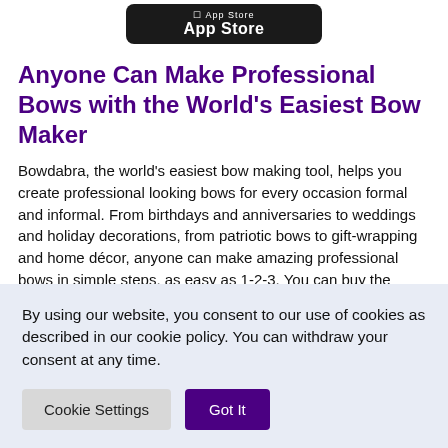[Figure (logo): App Store button/badge with phone icon and text 'App Store' on dark rounded rectangle background]
Anyone Can Make Professional Bows with the World's Easiest Bow Maker
Bowdabra, the world's easiest bow making tool, helps you create professional looking bows for every occasion formal and informal. From birthdays and anniversaries to weddings and holiday decorations, from patriotic bows to gift-wrapping and home décor, anyone can make amazing professional bows in simple steps, as easy as 1-2-3. You can buy the Bowdabra DIY bow maker tools - including Large Bowdabra, Mini Bowdabra and Hair Bow Tool and Ruler as well as a huge selection of choicest ribbons and the ever dependable sturdy and twistable Bowdabra Bow Wire at affordable prices and
By using our website, you consent to our use of cookies as described in our cookie policy. You can withdraw your consent at any time.